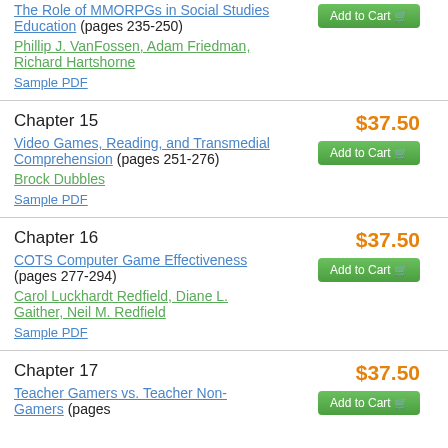The Role of MMORPGs in Social Studies Education (pages 235-250)
Phillip J. VanFossen, Adam Friedman, Richard Hartshorne
Sample PDF
Chapter 15
$37.50
Add to Cart
Video Games, Reading, and Transmedial Comprehension (pages 251-276)
Brock Dubbles
Sample PDF
Chapter 16
$37.50
Add to Cart
COTS Computer Game Effectiveness (pages 277-294)
Carol Luckhardt Redfield, Diane L. Gaither, Neil M. Redfield
Sample PDF
Chapter 17
$37.50
Add to Cart
Teacher Gamers vs. Teacher Non-Gamers (pages